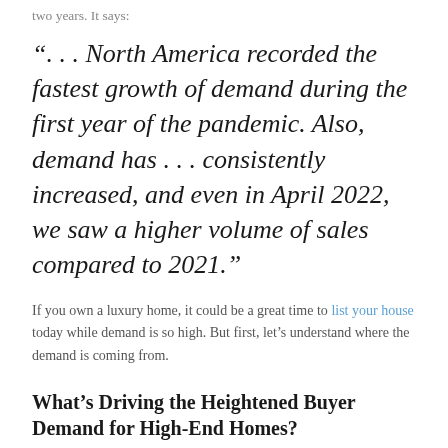two years. It says:
“. . . North America recorded the fastest growth of demand during the first year of the pandemic. Also, demand has . . . consistently increased, and even in April 2022, we saw a higher volume of sales compared to 2021.”
If you own a luxury home, it could be a great time to list your house today while demand is so high. But first, let’s understand where the demand is coming from.
What’s Driving the Heightened Buyer Demand for High-End Homes?
The same report says more people have reached a certain